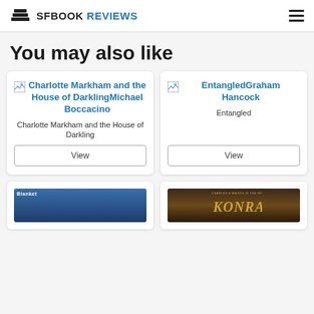SFBOOK REVIEWS
You may also like
Charlotte Markham and the House of DarklingMichael Boccacino
Charlotte Markham and the House of Darkling
View
EntangledGraham Hancock
Entangled
View
[Figure (photo): Book cover partially visible at bottom left, blue background with 'Blanket' publisher logo]
[Figure (photo): Book cover for 'Konrad' by David Ferring, dark fantasy illustration with armored warrior]